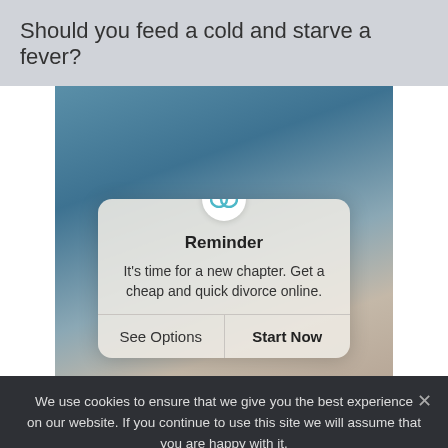Should you feed a cold and starve a fever?
[Figure (photo): A blurred outdoor photo with a teal/blue sky background. Overlaid is a popup dialog with a circular icon, bold title 'Reminder', body text 'It’s time for a new chapter. Get a cheap and quick divorce online.', and two buttons: 'See Options' and 'Start Now'.]
We use cookies to ensure that we give you the best experience on our website. If you continue to use this site we will assume that you are happy with it.